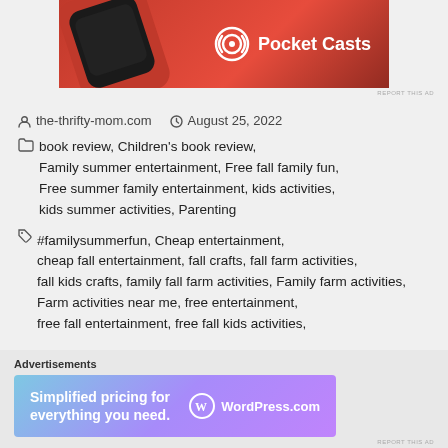[Figure (photo): Pocket Casts advertisement banner showing a red phone/device and the Pocket Casts logo with text on a red background]
REPORT THIS AD
the-thrifty-mom.com  August 25, 2022
book review, Children's book review, Family summer entertainment, Free fall family fun, Free summer family entertainment, kids activities, kids summer activities, Parenting
#familysummerfun, Cheap entertainment, cheap fall entertainment, fall crafts, fall farm activities, fall kids crafts, family fall farm activities, Family farm activities, Farm activities near me, free entertainment, free fall entertainment, free fall kids activities,
[Figure (screenshot): WordPress.com advertisement: 'Simplified pricing for everything you need.' with WordPress.com logo on a purple/blue gradient background]
Advertisements
REPORT THIS AD